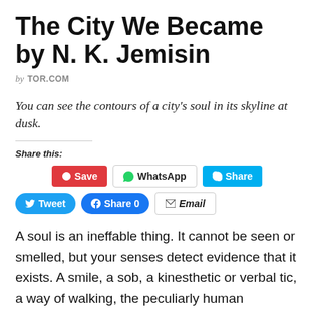The City We Became by N. K. Jemisin
by TOR.COM
You can see the contours of a city's soul in its skyline at dusk.
Share this:
[Figure (screenshot): Social share buttons: Save (Pinterest, red), WhatsApp (outlined), Share (Skype, blue), Tweet (Twitter, blue rounded), Share 0 (Facebook, blue rounded), Email (outlined italic)]
A soul is an ineffable thing. It cannot be seen or smelled, but your senses detect evidence that it exists. A smile, a sob, a kinesthetic or verbal tic, a way of walking, the peculiarly human brightness in someone's eyes. We're not